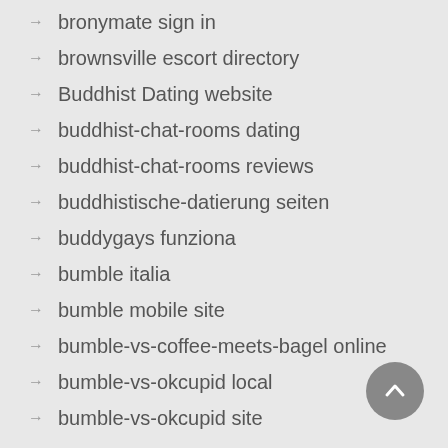bronymate sign in
brownsville escort directory
Buddhist Dating website
buddhist-chat-rooms dating
buddhist-chat-rooms reviews
buddhistische-datierung seiten
buddygays funziona
bumble italia
bumble mobile site
bumble-vs-coffee-meets-bagel online
bumble-vs-okcupid local
bumble-vs-okcupid site